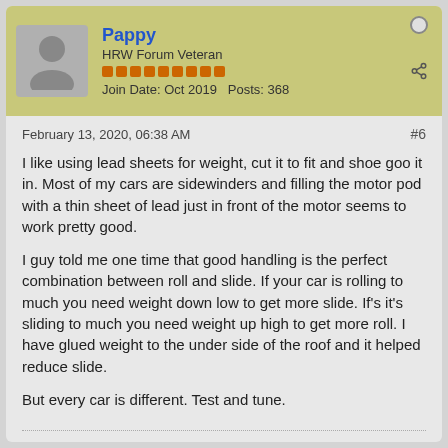Pappy | HRW Forum Veteran | Join Date: Oct 2019  Posts: 368
February 13, 2020, 06:38 AM
#6
I like using lead sheets for weight, cut it to fit and shoe goo it in. Most of my cars are sidewinders and filling the motor pod with a thin sheet of lead just in front of the motor seems to work pretty good.

I guy told me one time that good handling is the perfect combination between roll and slide. If your car is rolling to much you need weight down low to get more slide. If's it's sliding to much you need weight up high to get more roll. I have glued weight to the under side of the roof and it helped reduce slide.

But every car is different. Test and tune.
Butch Dunaway
Oxford, Ohio